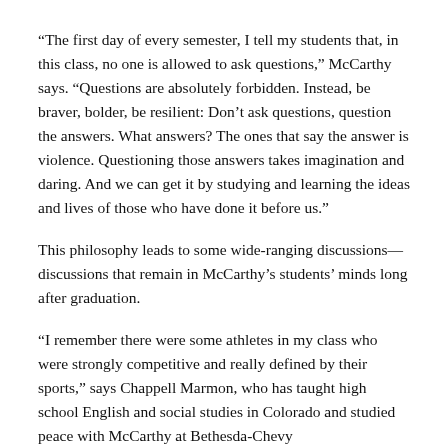“The first day of every semester, I tell my students that, in this class, no one is allowed to ask questions,” McCarthy says. “Questions are absolutely forbidden. Instead, be braver, bolder, be resilient: Don’t ask questions, question the answers. What answers? The ones that say the answer is violence. Questioning those answers takes imagination and daring. And we can get it by studying and learning the ideas and lives of those who have done it before us.”
This philosophy leads to some wide-ranging discussions— discussions that remain in McCarthy’s students’ minds long after graduation.
“I remember there were some athletes in my class who were strongly competitive and really defined by their sports,” says Chappell Marmon, who has taught high school English and social studies in Colorado and studied peace with McCarthy at Bethesda-Chevy